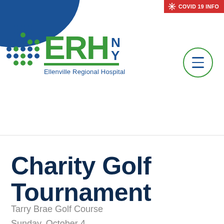[Figure (logo): Ellenville Regional Hospital (ERH NY) logo with dot grid icon and COVID-19 INFO banner]
Charity Golf Tournament
Tarry Brae Golf Course
Sunday, October 4